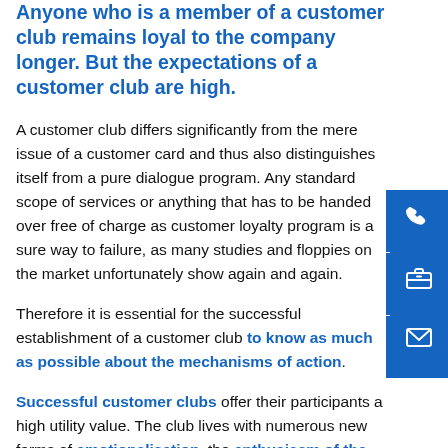Anyone who is a member of a customer club remains loyal to the company longer. But the expectations of a customer club are high.
A customer club differs significantly from the mere issue of a customer card and thus also distinguishes itself from a pure dialogue program. Any standard scope of services or anything that has to be handed over free of charge as customer loyalty program is a sure way to failure, as many studies and floppies on the market unfortunately show again and again.
Therefore it is essential for the successful establishment of a customer club to know as much as possible about the mechanisms of action.
Successful customer clubs offer their participants a high utility value. The club lives with numerous new forms of emotionalisation, the enthusiasm of the customers.
So found a customer club that does not rely on discounts